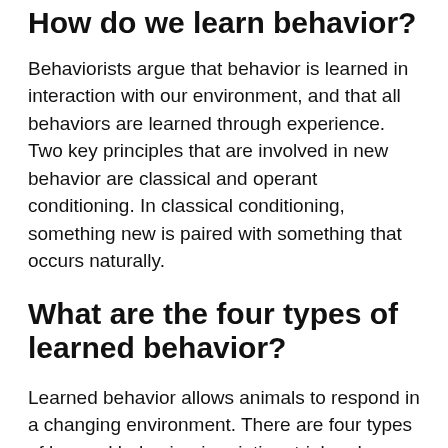How do we learn behavior?
Behaviorists argue that behavior is learned in interaction with our environment, and that all behaviors are learned through experience. Two key principles that are involved in new behavior are classical and operant conditioning. In classical conditioning, something new is paired with something that occurs naturally.
What are the four types of learned behavior?
Learned behavior allows animals to respond in a changing environment. There are four types of learned behavior: imprinting, trial and error, conditioning, and insight.